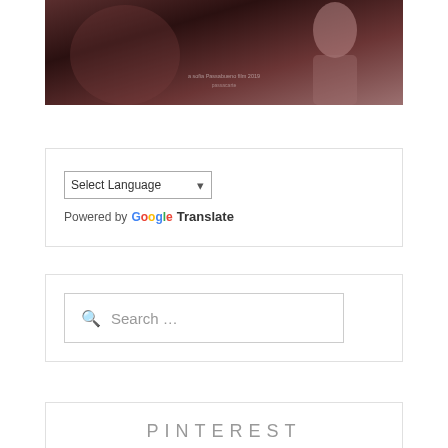[Figure (photo): Dark cinematic movie poster or promotional image with warm reddish-brown tones, partially visible figure]
Select Language (dropdown) Powered by Google Translate
Search ...
PINTEREST